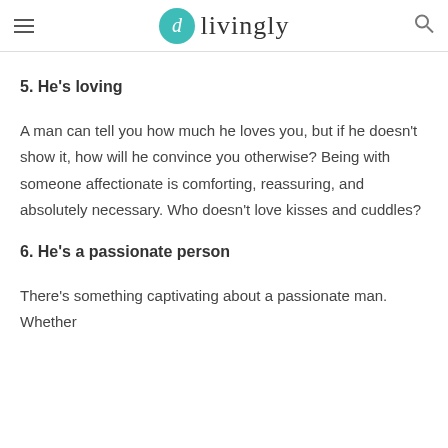livingly
5. He's loving
A man can tell you how much he loves you, but if he doesn't show it, how will he convince you otherwise? Being with someone affectionate is comforting, reassuring, and absolutely necessary. Who doesn't love kisses and cuddles?
6. He's a passionate person
There's something captivating about a passionate man. Whether